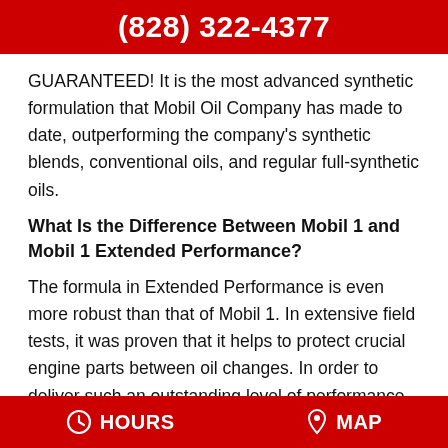(828) 322-4377
GUARANTEED! It is the most advanced synthetic formulation that Mobil Oil Company has made to date, outperforming the company's synthetic blends, conventional oils, and regular full-synthetic oils.
What Is the Difference Between Mobil 1 and Mobil 1 Extended Performance?
The formula in Extended Performance is even more robust than that of Mobil 1. In extensive field tests, it was proven that it helps to protect crucial engine parts between oil changes. In order to deliver such an outstanding level of performance,
HOURS   MAP